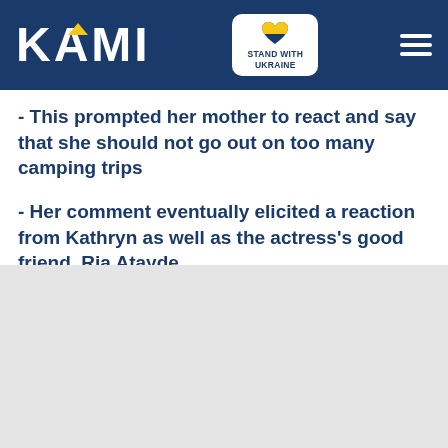KAMI — Stand with Ukraine
- This prompted her mother to react and say that she should not go out on too many camping trips
- Her comment eventually elicited a reaction from Kathryn as well as the actress's good friend, Ria Atayde